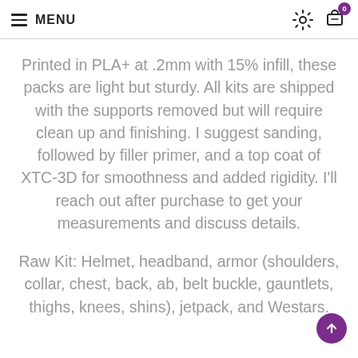MENU
Printed in PLA+ at .2mm with 15% infill, these packs are light but sturdy. All kits are shipped with the supports removed but will require clean up and finishing. I suggest sanding, followed by filler primer, and a top coat of XTC-3D for smoothness and added rigidity. I'll reach out after purchase to get your measurements and discuss details.
Raw Kit: Helmet, headband, armor (shoulders, collar, chest, back, ab, belt buckle, gauntlets, thighs, knees, shins), jetpack, and Westars.